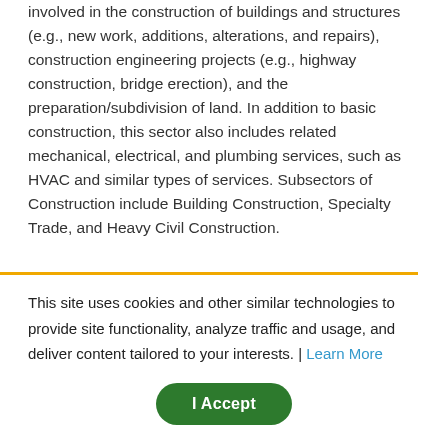involved in the construction of buildings and structures (e.g., new work, additions, alterations, and repairs), construction engineering projects (e.g., highway construction, bridge erection), and the preparation/subdivision of land. In addition to basic construction, this sector also includes related mechanical, electrical, and plumbing services, such as HVAC and similar types of services. Subsectors of Construction include Building Construction, Specialty Trade, and Heavy Civil Construction.
This site uses cookies and other similar technologies to provide site functionality, analyze traffic and usage, and deliver content tailored to your interests. | Learn More
I Accept